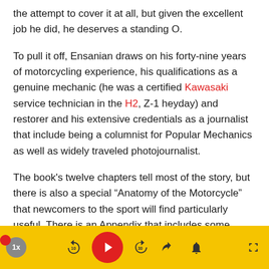the attempt to cover it at all, but given the excellent job he did, he deserves a standing O.
To pull it off, Ensanian draws on his forty-nine years of motorcycling experience, his qualifications as a genuine mechanic (he was a certified Kawasaki service technician in the H2, Z-1 heyday) and restorer and his extensive credentials as a journalist that include being a columnist for Popular Mechanics as well as widely traveled photojournalist.
The book’s twelve chapters tell most of the story, but there is also a special “Anatomy of the Motorcycle” that newcomers to the sport will find particularly useful. There is an Appendix that includes some fascinating specialty machines, a tech feature on horsepower and a short course on fuel and fuel